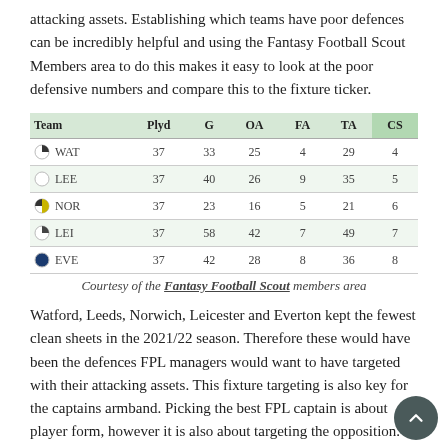attacking assets. Establishing which teams have poor defences can be incredibly helpful and using the Fantasy Football Scout Members area to do this makes it easy to look at the poor defensive numbers and compare this to the fixture ticker.
| Team | Plyd | G | OA | FA | TA | CS |
| --- | --- | --- | --- | --- | --- | --- |
| WAT | 37 | 33 | 25 | 4 | 29 | 4 |
| LEE | 37 | 40 | 26 | 9 | 35 | 5 |
| NOR | 37 | 23 | 16 | 5 | 21 | 6 |
| LEI | 37 | 58 | 42 | 7 | 49 | 7 |
| EVE | 37 | 42 | 28 | 8 | 36 | 8 |
Courtesy of the Fantasy Football Scout members area
Watford, Leeds, Norwich, Leicester and Everton kept the fewest clean sheets in the 2021/22 season. Therefore these would have been the defences FPL managers would want to have targeted with their attacking assets. This fixture targeting is also key for the captains armband. Picking the best FPL captain is about player form, however it is also about targeting the opposition. This was what a high number of FPL managers did